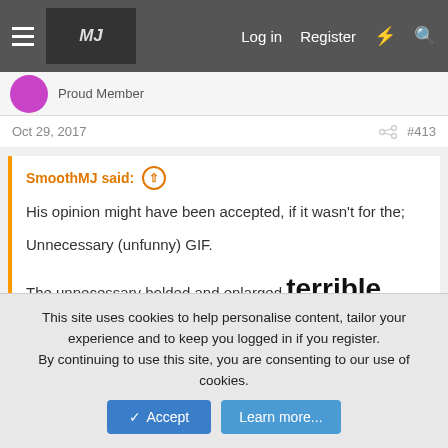Log in  Register
Proud Member
Oct 29, 2017   #413
SmoothMJ said: ↑
His opinion might have been accepted, if it wasn't for the;

Unnecessary (unfunny) GIF.

The unnecessary bolded and enlarged terrible.

The unnecessary "shit" and "$3" comments that came before it had even been seen in full
Click to expand...
This site uses cookies to help personalise content, tailor your experience and to keep you logged in if you register.
By continuing to use this site, you are consenting to our use of cookies.